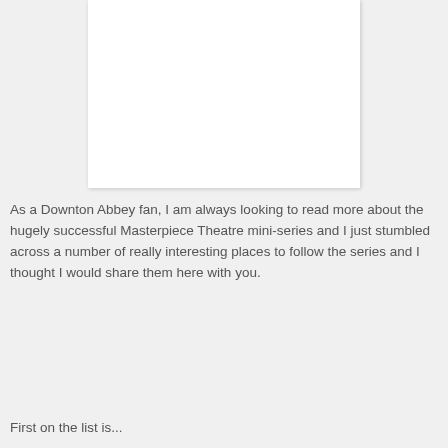[Figure (photo): A white rectangular image placeholder or photo area with a light shadow border]
As a Downton Abbey fan, I am always looking to read more about the hugely successful Masterpiece Theatre mini-series and I just stumbled across a number of really interesting places to follow the series and I thought I would share them here with you.
First on the list is...